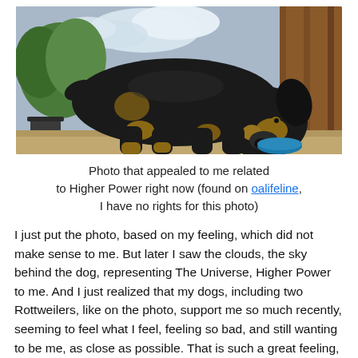[Figure (photo): A large black and tan Rottweiler dog standing on a patio/outdoor area, bending its head down toward a blue bowl. Green trees and sky visible in the background, and a wooden structure on the right.]
Photo that appealed to me related to Higher Power right now (found on oalifeline, I have no rights for this photo)
I just put the photo, based on my feeling, which did not make sense to me. But later I saw the clouds, the sky behind the dog, representing The Universe, Higher Power to me. And I just realized that my dogs, including two Rottweilers, like on the photo, support me so much recently, seeming to feel what I feel, feeling so bad, and still wanting to be me, as close as possible. That is such a great feeling, such a great gift.